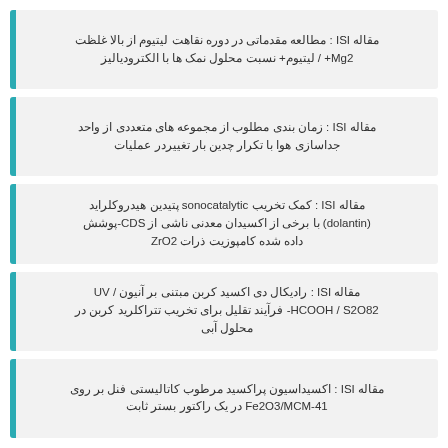مقاله ISI : مطالعه مقدماتی در دوره نقاهت لیتیوم از بالا غلظت Mg2+ / لیتیوم+ نسبت محلول نمک ها با الکترودیالیز
مقاله ISI : زمان بندی مطلوب از مجموعه های متعددی از واحد جداسازی هوا با تکرار چدین بار تغییردر عملیات
مقاله ISI : کمک تخریب sonocatalytic پتیدین هیدروکلراید (dolantin) با برخی از اکسیدان معدنی ناشی از CDS-پوشش داده شده کامپوزیت ذرات ZrO2
مقاله ISI : رادیکال دی اکسید کربن مبتنی بر آنیون / UV HCOOH / S2O82- فرآیند تقلیل برای تخریب تتراکلرید کربن در محلول آبی
مقاله ISI : اکسیداسیون پراکسید مرطوب کاتالیستی فنل بر روی Fe2O3/MCM-41 در یک راکتور بستر ثابت